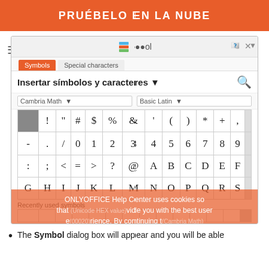PRUÉBELO EN LA NUBE
[Figure (screenshot): Screenshot of ONLYOFFICE Insert Symbol/Special characters dialog showing a character grid with symbols and letters, with a cookie consent overlay. Shows tabs for Symbols and Special characters, font selectors for Cambria Math and Basic Latin, a grid of characters, Recently used symbols section, Unicode HEX value field showing 00020, and Insert/Close buttons.]
The Symbol dialog box will appear and you will be able